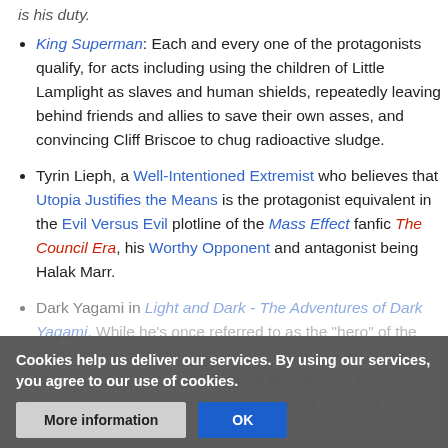is his duty.
King Superman: Each and every one of the protagonists qualify, for acts including using the children of Little Lamplight as slaves and human shields, repeatedly leaving behind friends and allies to save their own asses, and convincing Cliff Briscoe to chug radioactive sludge.
Tyrin Lieph, a Well-Intentioned Extremist who believes that Utopia Justifies the Means is the protagonist equivalent in the Evil Versus Evil plotline of the Mass Effect fanfic The Council Era, his Worthy Opponent and antagonist being Halak Marr.
Dark Yagami in Light and Dark - The Adventures of Dark Yagami. While he's once referred to as the "hero" of the story (mainly to justify his Plot Armor), unlike many fanfics with similar Protagonist-Centered Morality, the author seems to acknowledge that his character is meant to...
Cookies help us deliver our services. By using our services, you agree to our use of cookies.